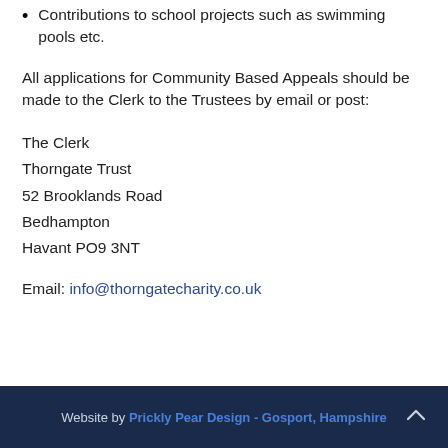Contributions to school projects such as swimming pools etc.
All applications for Community Based Appeals should be made to the Clerk to the Trustees by email or post:
The Clerk
Thorngate Trust
52 Brooklands Road
Bedhampton
Havant PO9 3NT
Email: info@thorngatecharity.co.uk
Website by Prickly Pear Design - Gosport, Hampshire